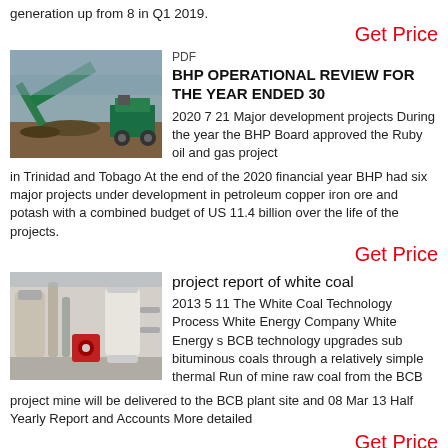generation up from 8 in Q1 2019.
Get Price
[Figure (photo): Industrial mining/conveyor equipment at a mine site]
PDF
BHP OPERATIONAL REVIEW FOR THE YEAR ENDED 30
2020 7 21 Major development projects During the year the BHP Board approved the Ruby oil and gas project in Trinidad and Tobago At the end of the 2020 financial year BHP had six major projects under development in petroleum copper iron ore and potash with a combined budget of US 11.4 billion over the life of the projects.
Get Price
[Figure (photo): Industrial coal processing plant facility interior]
project report of white coal
2013 5 11 The White Coal Technology Process White Energy Company White Energy s BCB technology upgrades sub bituminous coals through a relatively simple thermal Run of mine raw coal from the BCB project mine will be delivered to the BCB plant site and 08 Mar 13 Half Yearly Report and Accounts More detailed
Get Price